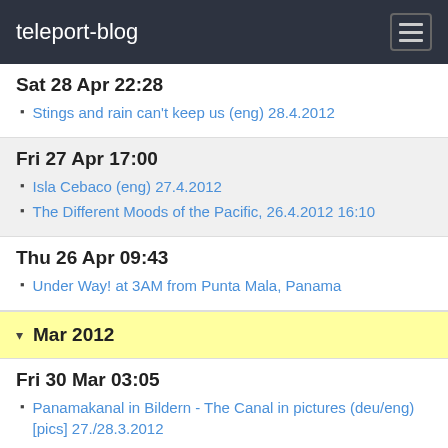teleport-blog
Sat 28 Apr 22:28
Stings and rain can't keep us (eng) 28.4.2012
Fri 27 Apr 17:00
Isla Cebaco (eng) 27.4.2012
The Different Moods of the Pacific, 26.4.2012 16:10
Thu 26 Apr 09:43
Under Way! at 3AM from Punta Mala, Panama
Mar 2012
Fri 30 Mar 03:05
Panamakanal in Bildern - The Canal in pictures (deu/eng) [pics] 27./28.3.2012
Wed 28 Mar 10:22
Hello Pacific! 28.3.2012, 1:40hrs
Sat 3 Mar 14:31
They made it! (deu/eng) 3.3.2012